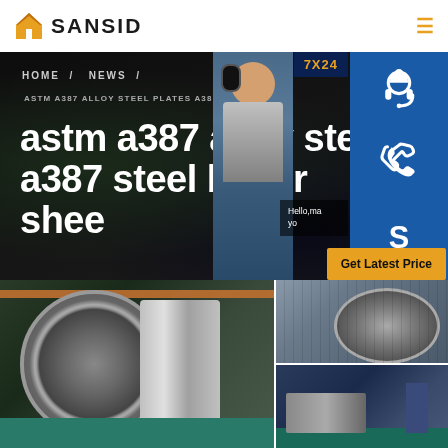SANSID
[Figure (screenshot): Hero banner with dark background showing breadcrumb navigation HOME / NEWS /, small text ASTM A387 ALLOY STEEL PLATES A387 ST, and large bold white text 'astm a387 alloy steel a387 steel boiler shee'. Right side shows customer support panel with 7X24 label, photo of woman with headset, blue sidebar buttons with headset icon, phone icon, Skype icon, Hello message box, and Get Latest Price yellow button.]
astm a387 alloy steel a387 steel boiler shee
ASTM A387 ALLOY STEEL PLATES A387 ST
[Figure (photo): Factory floor showing large metal coil/roll machinery on the left side]
[Figure (photo): Two smaller factory images on the right: top showing large curved metal structure, bottom showing worker with machinery]